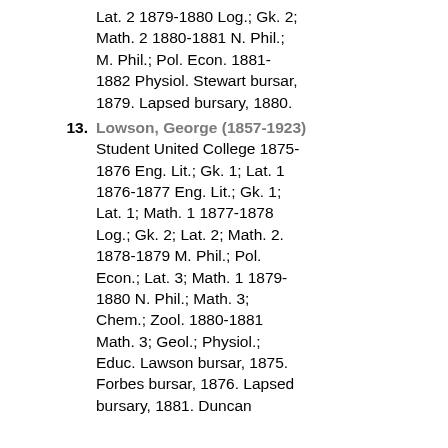Lat. 2 1879-1880 Log.; Gk. 2; Math. 2 1880-1881 N. Phil.; M. Phil.; Pol. Econ. 1881-1882 Physiol. Stewart bursar, 1879. Lapsed bursary, 1880.
13. Lowson, George (1857-1923) Student United College 1875-1876 Eng. Lit.; Gk. 1; Lat. 1 1876-1877 Eng. Lit.; Gk. 1; Lat. 1; Math. 1 1877-1878 Log.; Gk. 2; Lat. 2; Math. 2. 1878-1879 M. Phil.; Pol. Econ.; Lat. 3; Math. 1 1879-1880 N. Phil.; Math. 3; Chem.; Zool. 1880-1881 Math. 3; Geol.; Physiol.; Educ. Lawson bursar, 1875. Forbes bursar, 1876. Lapsed bursary, 1881. Duncan